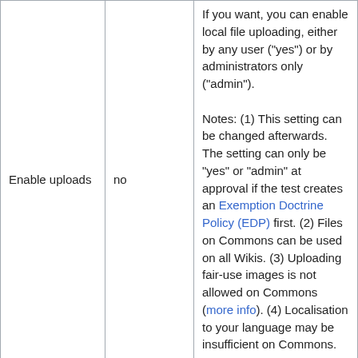| Enable uploads | no | Description |
| --- | --- | --- |
| Enable uploads | no | If you want, you can enable local file uploading, either by any user ("yes") or by administrators only ("admin"). Notes: (1) This setting can be changed afterwards. The setting can only be "yes" or "admin" at approval if the test creates an Exemption Doctrine Policy (EDP) first. (2) Files on Commons can be used on all Wikis. (3) Uploading fair-use images is not allowed on Commons (more info). (4) Localisation to your language may be insufficient on Commons. |
| Optional settings |  |  |